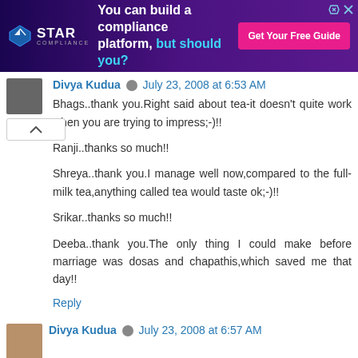[Figure (screenshot): Advertisement banner for Star Compliance. Purple gradient background with Star Compliance logo on left, headline 'You can build a compliance platform, but should you?' in white and cyan text, and a pink 'Get Your Free Guide' button on the right.]
Divya Kudua · July 23, 2008 at 6:53 AM
Bhags..thank you.Right said about tea-it doesn't quite work when you are trying to impress;-)!!

Ranji..thanks so much!!

Shreya..thank you.I manage well now,compared to the full-milk tea,anything called tea would taste ok;-)!!

Srikar..thanks so much!!

Deeba..thank you.The only thing I could make before marriage was dosas and chapathis,which saved me that day!!
Reply
Divya Kudua · July 23, 2008 at 6:57 AM